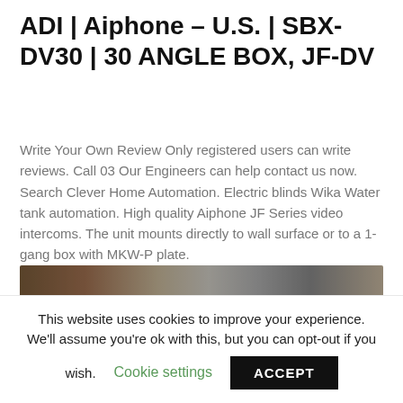ADI | Aiphone – U.S. | SBX-DV30 | 30 ANGLE BOX, JF-DV
Write Your Own Review Only registered users can write reviews. Call 03 Our Engineers can help contact us now. Search Clever Home Automation. Electric blinds Wika Water tank automation. High quality Aiphone JF Series video intercoms. The unit mounts directly to wall surface or to a 1-gang box with MKW-P plate.
[Figure (screenshot): Video thumbnail showing 'Aiphone AX series video output to e...' with a person's avatar/profile photo on the left and electronic hardware components visible in the background.]
This website uses cookies to improve your experience. We'll assume you're ok with this, but you can opt-out if you wish. Cookie settings ACCEPT